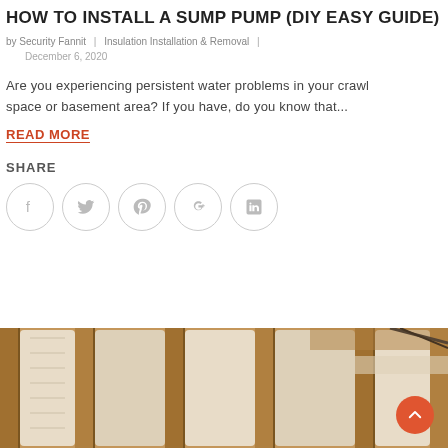HOW TO INSTALL A SUMP PUMP (DIY EASY GUIDE)
by Security Fannit | Insulation Installation & Removal | December 6, 2020
Are you experiencing persistent water problems in your crawl space or basement area? If you have, do you know that...
READ MORE
SHARE
[Figure (infographic): Social share icons: Facebook, Twitter, Pinterest, Google+, LinkedIn — each in a light gray circle border]
[Figure (photo): Photo of wood-framed wall with spray foam or batt insulation between studs, interior construction view]